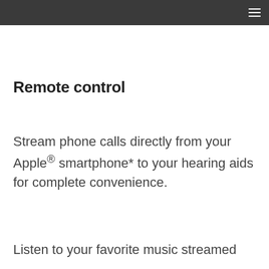Remote control
Stream phone calls directly from your Apple® smartphone* to your hearing aids for complete convenience.
Listen to your favorite music streamed